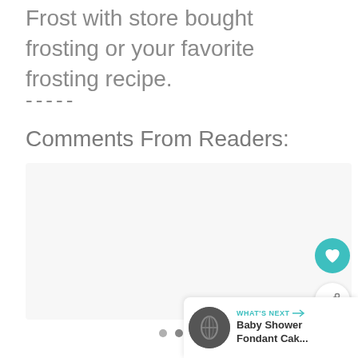Frost with store bought frosting or your favorite frosting recipe.
-----
Comments From Readers:
[Figure (screenshot): Empty light gray comments box with carousel navigation dots at bottom, heart/favorite button, share button, and a 'What's Next' panel showing Baby Shower Fondant Cak... article thumbnail]
WHAT'S NEXT → Baby Shower Fondant Cak...